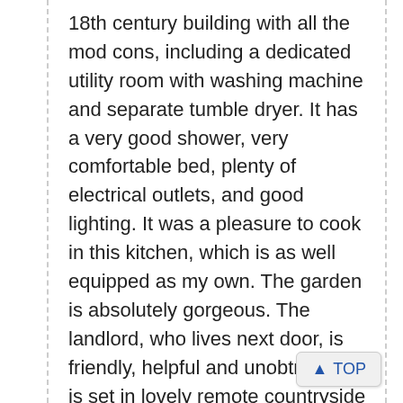18th century building with all the mod cons, including a dedicated utility room with washing machine and separate tumble dryer. It has a very good shower, very comfortable bed, plenty of electrical outlets, and good lighting. It was a pleasure to cook in this kitchen, which is as well equipped as my own. The garden is absolutely gorgeous. The landlord, who lives next door, is friendly, helpful and unobtrusive. It is set in lovely remote countryside but is very close to good roads leading to Chester/Liverpool, Llangollen/North Wales, Ironbridge Gorge, Oswestry, and Powys/Ludlow. Excellent location. Directions are not very helpful. Look f...